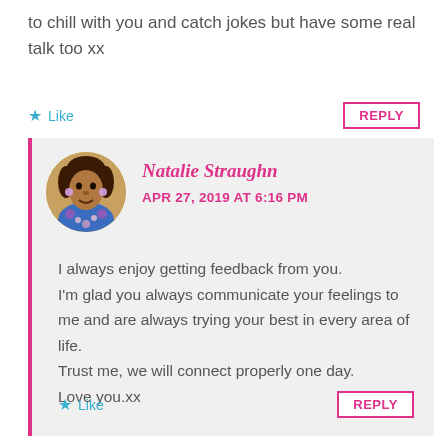to chill with you and catch jokes but have some real talk too xx
Like
REPLY
Natalie Straughn
APR 27, 2019 AT 6:16 PM
I always enjoy getting feedback from you. I'm glad you always communicate your feelings to me and are always trying your best in every area of life. Trust me, we will connect properly one day. Love you.xx
Like
REPLY